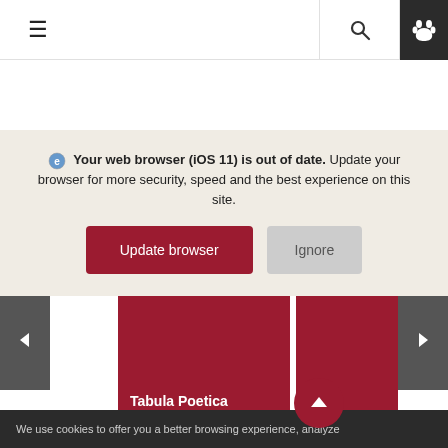[Figure (screenshot): Website navigation bar with hamburger menu icon on left, search icon in center-right, and dark background paw icon on far right]
Your web browser (iOS 11) is out of date. Update your browser for more security, speed and the best experience on this site.
[Figure (screenshot): Two buttons: crimson 'Update browser' button and gray 'Ignore' button]
[Figure (screenshot): Carousel with left and right arrow navigation buttons, two crimson cards: 'Tabula Poetica on YouTube' and a partially visible 'Poetry Series' card, and a crimson scroll-to-top circle button]
We use cookies to offer you a better browsing experience, analyze